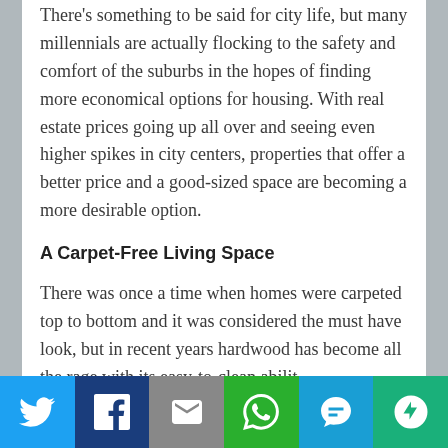There's something to be said for city life, but many millennials are actually flocking to the safety and comfort of the suburbs in the hopes of finding more economical options for housing. With real estate prices going up all over and seeing even higher spikes in city centers, properties that offer a better price and a good-sized space are becoming a more desirable option.
A Carpet-Free Living Space
There was once a time when homes were carpeted top to bottom and it was considered the must have look, but in recent years hardwood has become all the rage with its easy-to-clean abilit…